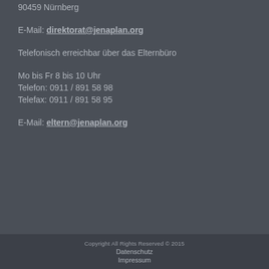90459 Nürnberg
E-Mail: direktorat@jenaplan.org
Telefonisch erreichbar über das Elternbüro
Mo bis Fr 8 bis 10 Uhr
Telefon: 0911 / 891 58 98
Telefax: 0911 / 891 58 95
E-Mail: eltern@jenaplan.org
Copyright All Rights Reserved © 2015
Datenschutz
Impressum